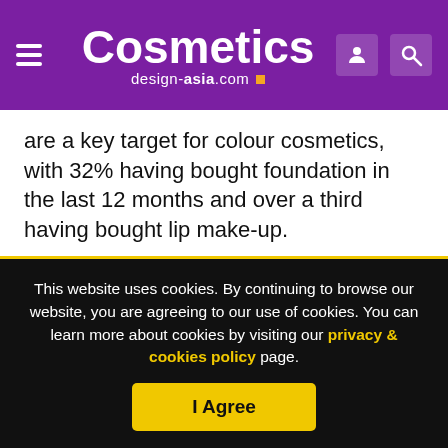Cosmetics design-asia.com
are a key target for colour cosmetics, with 32% having bought foundation in the last 12 months and over a third having bought lip make-up.
“More brands in Asia are seeing growth potential in the still very niche but growing men’s makeup market, especially within the facial colour cosmetics segment. That will drive the growth of male beauty market forward,” said Kwek.
This website uses cookies. By continuing to browse our website, you are agreeing to our use of cookies. You can learn more about cookies by visiting our privacy & cookies policy page.
I Agree